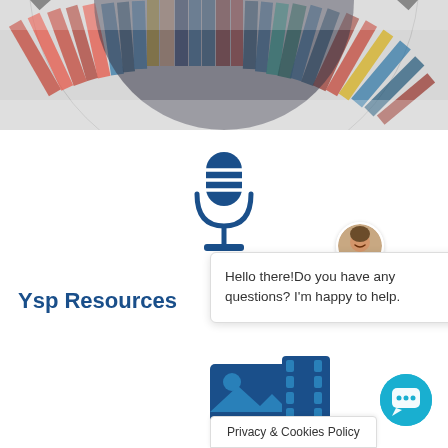[Figure (photo): Circular fisheye-style photo of colorful library bookshelves arranged in a radial pattern, with red, blue, green and other colored book spines visible]
[Figure (illustration): Blue microphone icon with horizontal lines across the capsule, mounted on a stand with a base]
[Figure (illustration): Circular avatar photo of a middle-aged man with short hair, smiling]
Hello there!Do you have any questions? I'm happy to help.
Ysp Resources
[Figure (illustration): Blue media icon showing a photo/image icon combined with a film strip icon]
[Figure (illustration): Teal/cyan circular chat button icon with speech bubble]
Privacy & Cookies Policy